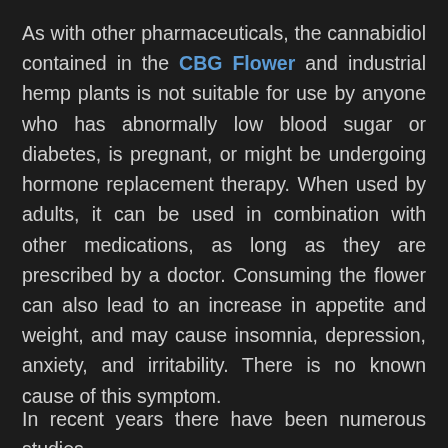As with other pharmaceuticals, the cannabidiol contained in the CBG Flower and industrial hemp plants is not suitable for use by anyone who has abnormally low blood sugar or diabetes, is pregnant, or might be undergoing hormone replacement therapy. When used by adults, it can be used in combination with other medications, as long as they are prescribed by a doctor. Consuming the flower can also lead to an increase in appetite and weight, and may cause insomnia, depression, anxiety, and irritability. There is no known cause of this symptom.
In recent years there have been numerous studies